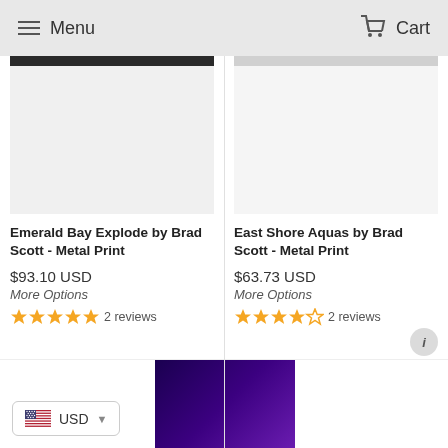Menu   Cart
Emerald Bay Explode by Brad Scott - Metal Print
$93.10 USD
More Options
2 reviews
East Shore Aquas by Brad Scott - Metal Print
$63.73 USD
More Options
2 reviews
USD